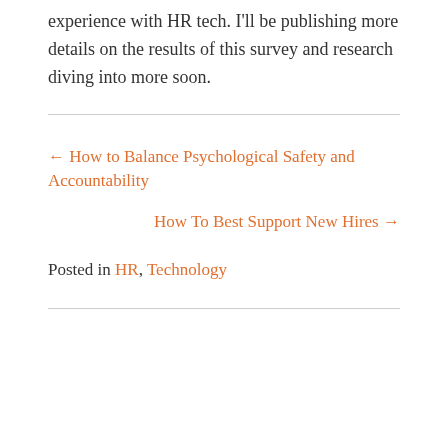experience with HR tech. I'll be publishing more details on the results of this survey and research diving into more soon.
← How to Balance Psychological Safety and Accountability
How To Best Support New Hires →
Posted in HR, Technology